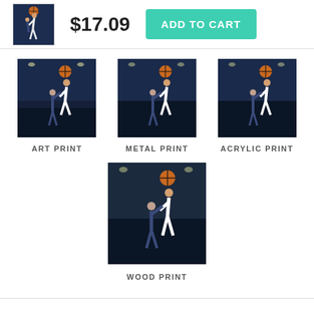[Figure (photo): Basketball action photo thumbnail - player dunking over defender]
$17.09
ADD TO CART
[Figure (photo): Art Print - basketball player dunking over defender]
ART PRINT
[Figure (photo): Metal Print - basketball player dunking over defender]
METAL PRINT
[Figure (photo): Acrylic Print - basketball player dunking over defender]
ACRYLIC PRINT
[Figure (photo): Wood Print - basketball player dunking over defender]
WOOD PRINT
ART PRINT TAGS